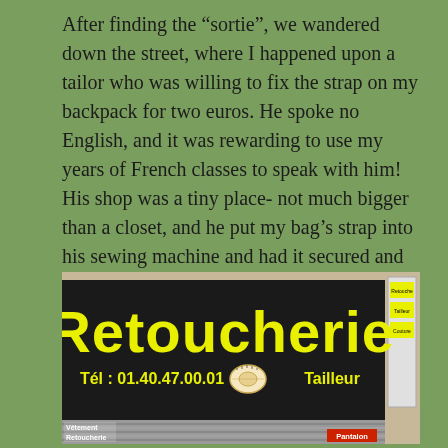After finding the “sortie”, we wandered down the street, where I happened upon a tailor who was willing to fix the strap on my backpack for two euros. He spoke no English, and it was rewarding to use my years of French classes to speak with him! His shop was a tiny place- not much bigger than a closet, and he put my bag’s strap into his sewing machine and had it secured and good as new in minutes!
[Figure (photo): A photograph of a French tailor shop storefront. A large black sign reads 'Retoucherie' in bold yellow letters. Below that in yellow text: 'Tél : 01.40.47.00.01' on the left, a tape measure image in the center, and 'Tailleur' on the right. A metal rolling shutter is partially lowered. Stickers on the lower left read 'Vêtement' and 'Retoucherie'. A red sticker on the lower right reads 'Pantalon'. A side panel on the right has yellow labels.]